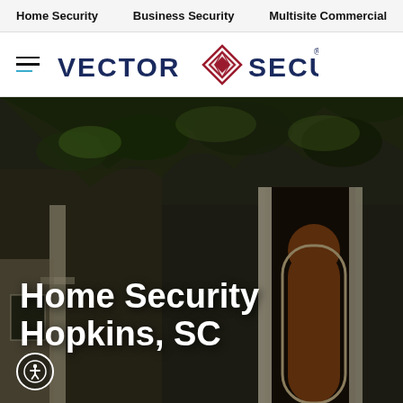Home Security | Business Security | Multisite Commercial
[Figure (logo): Vector Security logo with hamburger menu icon on the left and the text VECTOR [diamond logo] SECURITY. in navy blue]
[Figure (photo): Dark-toned photo of a house porch with tree branches, columns, and an arched wooden door. Large white bold text overlaid reads: Home Security Hopkins, SC. Accessibility icon in bottom-left corner.]
Home Security Hopkins, SC